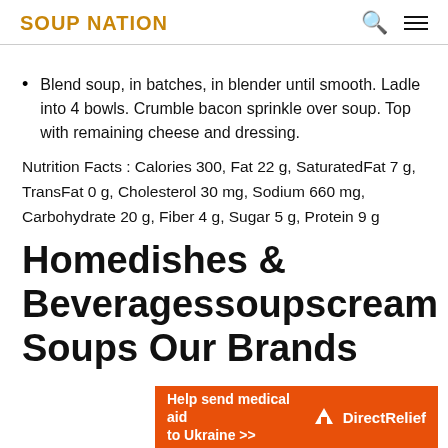SOUP NATION
Blend soup, in batches, in blender until smooth. Ladle into 4 bowls. Crumble bacon sprinkle over soup. Top with remaining cheese and dressing.
Nutrition Facts : Calories 300, Fat 22 g, SaturatedFat 7 g, TransFat 0 g, Cholesterol 30 mg, Sodium 660 mg, Carbohydrate 20 g, Fiber 4 g, Sugar 5 g, Protein 9 g
Homedishes & Beveragessoupscream Soups Our Brands
[Figure (other): DirectRelief advertisement banner: 'Help send medical aid to Ukraine >>' with DirectRelief logo on orange background]